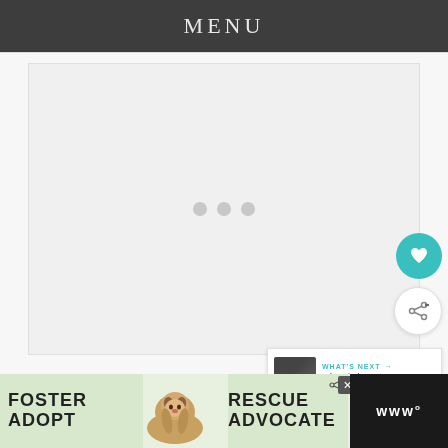MENU
[Figure (screenshot): Loading content area with three gray dots indicating content loading, on a light gray background]
[Figure (infographic): Teal heart/favorite button (circular)]
[Figure (infographic): White share button (circular) with share icon]
WHAT'S NEXT → Why Giada De Laurentiis a...
[Figure (photo): Advertisement banner: FOSTER ADOPT (left), dog photo (center), RESCUE ADVOCATE (right) with close button]
www°